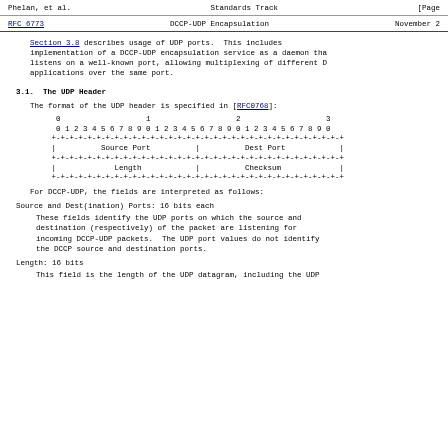Phelan, et al.                Standards Track                [Page
RFC 6773                 DCCP-UDP Encapsulation            November 2
Section 3.8 describes usage of UDP ports. This includes implementation of a DCCP-UDP encapsulation service as a daemon that listens on a well-known port, allowing multiplexing of different D applications over the same port.
3.1.  The UDP Header
The format of the UDP header is specified in [RFC0768]:
[Figure (schematic): UDP header bit diagram showing fields: Source Port, Dest Port, Length, Checksum across 32 bits (0-31)]
For DCCP-UDP, the fields are interpreted as follows:
Source and Dest(ination) Ports: 16 bits each
These fields identify the UDP ports on which the source and destination (respectively) of the packet are listening for incoming DCCP-UDP packets. The UDP port values do not identify the DCCP source and destination ports.
Length: 16 bits
This field is the length of the UDP datagram, including the UDP